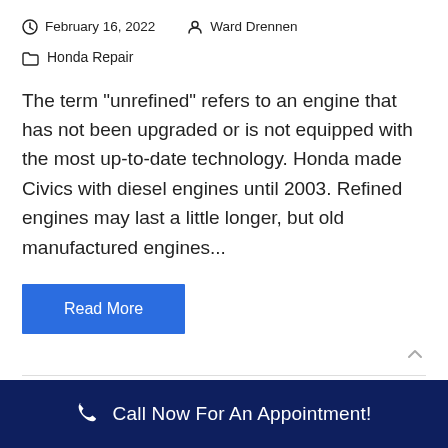February 16, 2022   Ward Drennen
Honda Repair
The term "unrefined" refers to an engine that has not been upgraded or is not equipped with the most up-to-date technology. Honda made Civics with diesel engines until 2003. Refined engines may last a little longer, but old manufactured engines...
Read More
Call Now For An Appointment!